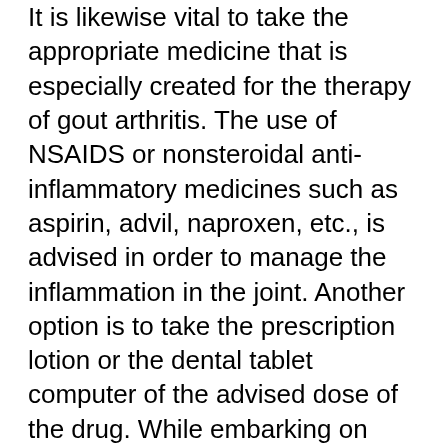It is likewise vital to take the appropriate medicine that is especially created for the therapy of gout arthritis. The use of NSAIDS or nonsteroidal anti-inflammatory medicines such as aspirin, advil, naproxen, etc., is advised in order to manage the inflammation in the joint. Another option is to take the prescription lotion or the dental tablet computer of the advised dose of the drug. While embarking on these self-management strategies it is important to remember that the gout strike can return if the medicine is quit abruptly; so it is best to step gradually and also meticulously with these medicines.
Another choice to regulate the strike is by stopping the intake of all medicines other than the NSAIDS. You have to see your